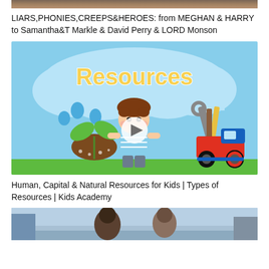[Figure (photo): Partial top image showing people, cropped at top of page]
LIARS,PHONIES,CREEPS&HEROES: from MEGHAN & HARRY to Samantha&T Markle & David Perry & LORD Monson
[Figure (illustration): Educational thumbnail for Kids Academy video titled Resources, showing cartoon boy with plant, water drops, toy truck and tools on blue cloud background with play button overlay]
Human, Capital & Natural Resources for Kids | Types of Resources | Kids Academy
[Figure (photo): Partial bottom image showing people outdoors, cropped at bottom of page]